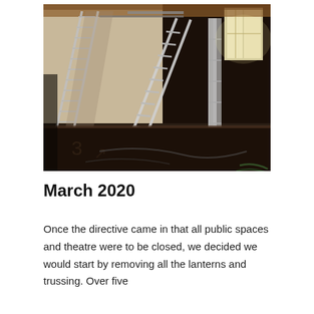[Figure (photo): Interior of a theatre stage area undergoing renovation. Ladders and metal trussing are leaning against white walls. The ceiling shows metal beams and rigging. The floor is a dark wooden stage. Cables and equipment are scattered on the floor. A bright window is visible in the upper right.]
March 2020
Once the directive came in that all public spaces and theatre were to be closed, we decided we would start by removing all the lanterns and trussing. Over five